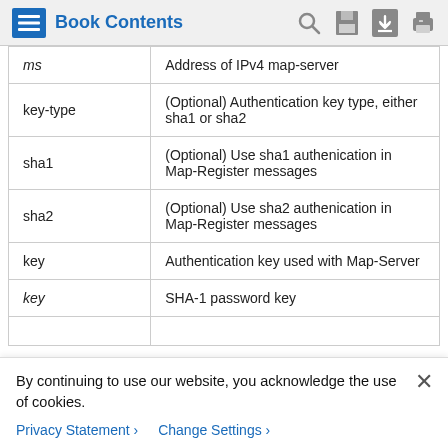Book Contents
| Parameter | Description |
| --- | --- |
| ms | Address of IPv4 map-server |
| key-type | (Optional) Authentication key type, either sha1 or sha2 |
| sha1 | (Optional) Use sha1 authenication in Map-Register messages |
| sha2 | (Optional) Use sha2 authenication in Map-Register messages |
| key | Authentication key used with Map-Server |
| key | SHA-1 password key |
By continuing to use our website, you acknowledge the use of cookies.
Privacy Statement > Change Settings >